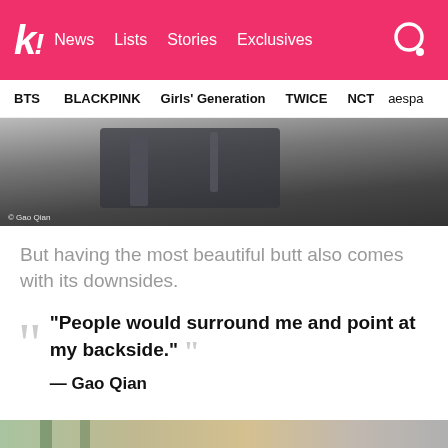k! News Lists Stories Exclusives
BTS BLACKPINK Girls' Generation TWICE NCT aespa
[Figure (photo): Photo of a person near gym equipment, dark tile floor, watermark © Gao Qian]
But having the most beautiful butt also comes with its downsides.
“People would surround me and point at my backside.” — Gao Qian
[Figure (photo): Bottom strip of a photo with green and neutral tones]